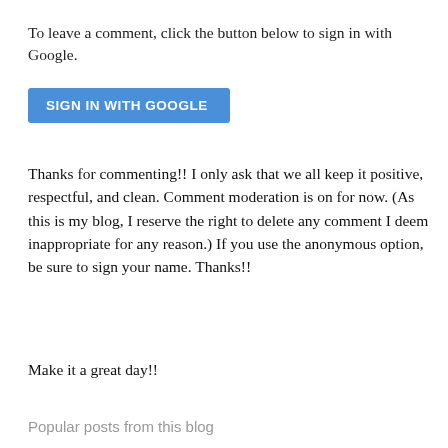To leave a comment, click the button below to sign in with Google.
[Figure (other): Blue 'SIGN IN WITH GOOGLE' button]
Thanks for commenting!! I only ask that we all keep it positive, respectful, and clean. Comment moderation is on for now. (As this is my blog, I reserve the right to delete any comment I deem inappropriate for any reason.) If you use the anonymous option, be sure to sign your name. Thanks!!
Make it a great day!!
Popular posts from this blog